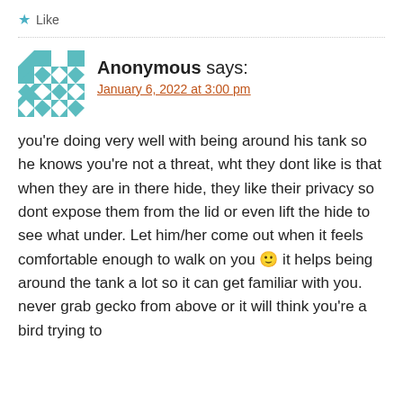★ Like
Anonymous says:
January 6, 2022 at 3:00 pm
you're doing very well with being around his tank so he knows you're not a threat, wht they dont like is that when they are in there hide, they like their privacy so dont expose them from the lid or even lift the hide to see what under. Let him/her come out when it feels comfortable enough to walk on you 🙂 it helps being around the tank a lot so it can get familiar with you. never grab gecko from above or it will think you're a bird trying to